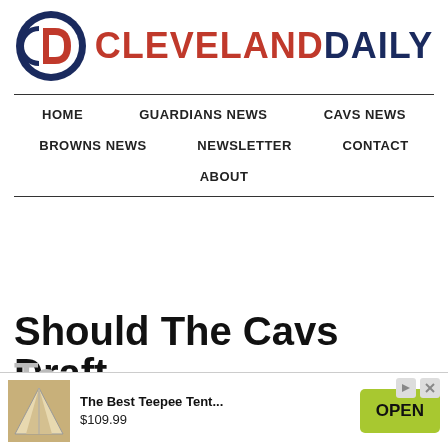[Figure (logo): Cleveland Daily logo with circular icon containing letters D and C, followed by text CLEVELAND in red and DAILY in dark navy blue]
HOME | GUARDIANS NEWS | CAVS NEWS | BROWNS NEWS | NEWSLETTER | CONTACT | ABOUT
Should The Cavs Draft Ta...
[Figure (other): Advertisement banner: The Best Teepee Tent... $109.99 with OPEN button]